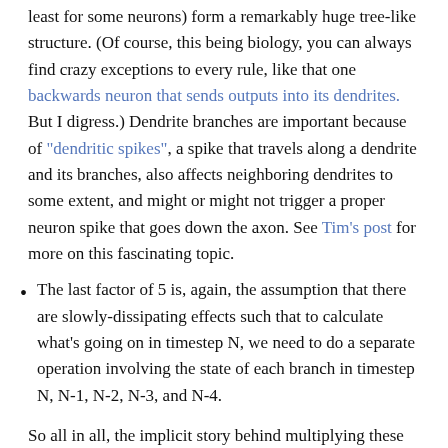least for some neurons) form a remarkably huge tree-like structure. (Of course, this being biology, you can always find crazy exceptions to every rule, like that one backwards neuron that sends outputs into its dendrites. But I digress.) Dendrite branches are important because of "dendritic spikes", a spike that travels along a dendrite and its branches, also affects neighboring dendrites to some extent, and might or might not trigger a proper neuron spike that goes down the axon. See Tim's post for more on this fascinating topic.
The last factor of 5 is, again, the assumption that there are slowly-dissipating effects such that to calculate what's going on in timestep N, we need to do a separate operation involving the state of each branch in timestep N, N-1, N-2, N-3, and N-4.
So all in all, the implicit story behind multiplying these